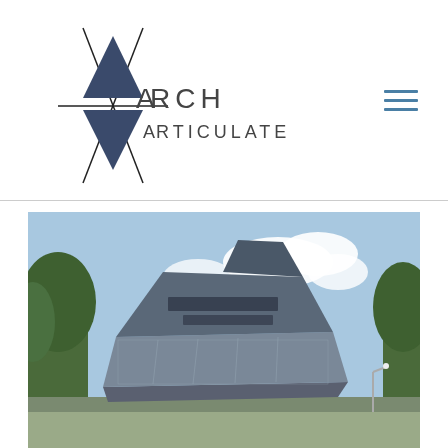[Figure (logo): Arch Articulate logo — geometric star/diamond shape made of crossing lines with two filled dark blue-grey triangles, text reading ARCH ARTICULATE beside it]
[Figure (photo): Exterior photograph of a modern angular building with dark metallic cladding and glass panels, surrounded by trees, under a partly cloudy blue sky]